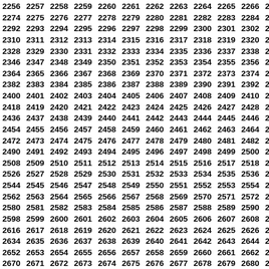2256 2257 2258 2259 2260 2261 2262 2263 2264 2265 2266 2267 2268 2269 2274 2275 2276 2277 2278 2279 2280 2281 2282 2283 2284 2285 2286 2287 2292 2293 2294 2295 2296 2297 2298 2299 2300 2301 2302 2303 2304 2305 2310 2311 2312 2313 2314 2315 2316 2317 2318 2319 2320 2321 2322 2323 2328 2329 2330 2331 2332 2333 2334 2335 2336 2337 2338 2339 2340 2341 2346 2347 2348 2349 2350 2351 2352 2353 2354 2355 2356 2357 2358 2359 2364 2365 2366 2367 2368 2369 2370 2371 2372 2373 2374 2375 2376 2377 2382 2383 2384 2385 2386 2387 2388 2389 2390 2391 2392 2393 2394 2395 2400 2401 2402 2403 2404 2405 2406 2407 2408 2409 2410 2411 2412 2413 2418 2419 2420 2421 2422 2423 2424 2425 2426 2427 2428 2429 2430 2431 2436 2437 2438 2439 2440 2441 2442 2443 2444 2445 2446 2447 2448 2449 2454 2455 2456 2457 2458 2459 2460 2461 2462 2463 2464 2465 2466 2467 2472 2473 2474 2475 2476 2477 2478 2479 2480 2481 2482 2483 2484 2485 2490 2491 2492 2493 2494 2495 2496 2497 2498 2499 2500 2501 2502 2503 2508 2509 2510 2511 2512 2513 2514 2515 2516 2517 2518 2519 2520 2521 2526 2527 2528 2529 2530 2531 2532 2533 2534 2535 2536 2537 2538 2539 2544 2545 2546 2547 2548 2549 2550 2551 2552 2553 2554 2555 2556 2557 2562 2563 2564 2565 2566 2567 2568 2569 2570 2571 2572 2573 2574 2575 2580 2581 2582 2583 2584 2585 2586 2587 2588 2589 2590 2591 2592 2593 2598 2599 2600 2601 2602 2603 2604 2605 2606 2607 2608 2609 2610 2611 2616 2617 2618 2619 2620 2621 2622 2623 2624 2625 2626 2627 2628 2629 2634 2635 2636 2637 2638 2639 2640 2641 2642 2643 2644 2645 2646 2647 2652 2653 2654 2655 2656 2657 2658 2659 2660 2661 2662 2663 2664 2665 2670 2671 2672 2673 2674 2675 2676 2677 2678 2679 2680 2681 2682 2683